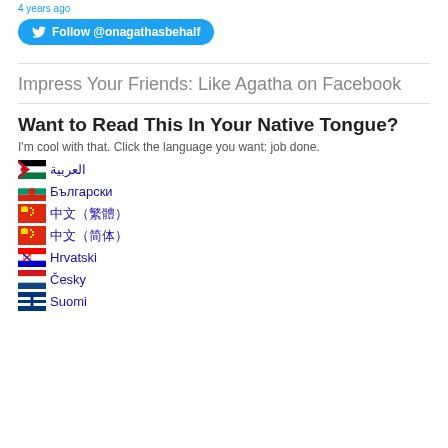4 years ago
[Figure (other): Twitter Follow button: Follow @onagathasbehalf]
Impress Your Friends: Like Agatha on Facebook
Want to Read This In Your Native Tongue?
I'm cool with that. Click the language you want: job done.
العربية
Български
中文（繁體）
中文（简体）
Hrvatski
Česky
Suomi